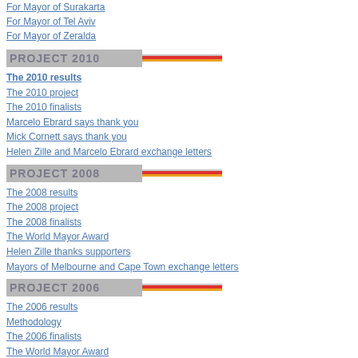For Mayor of Surakarta
For Mayor of Tel Aviv
For Mayor of Zeralda
[Figure (other): PROJECT 2010 banner with red, orange and gray horizontal stripes]
The 2010 results
The 2010 project
The 2010 finalists
Marcelo Ebrard says thank you
Mick Cornett says thank you
Helen Zille and Marcelo Ebrard exchange letters
[Figure (other): PROJECT 2008 banner with red, orange and gray horizontal stripes]
The 2008 results
The 2008 project
The 2008 finalists
The World Mayor Award
Helen Zille thanks supporters
Mayors of Melbourne and Cape Town exchange letters
[Figure (other): PROJECT 2006 banner with red, orange and gray horizontal stripes]
The 2006 results
Methodology
The 2006 finalists
The World Mayor Award
Dora Bakoyannis congratulates John So
[Figure (other): PROJECT 2005 banner with red, orange and gray horizontal stripes]
The 2005 results
Contest methodology
List of finalists
Winning mayors write